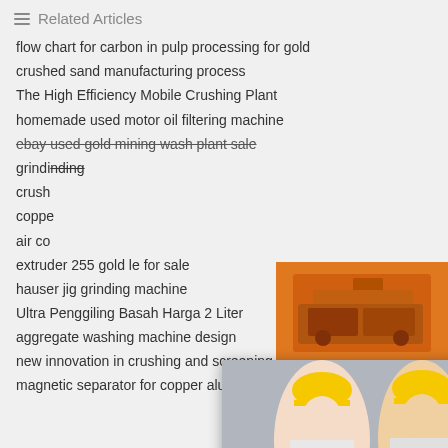Related Articles
flow chart for carbon in pulp processing for gold
crushed sand manufacturing process
The High Efficiency Mobile Crushing Plant
homemade used motor oil filtering machine
ebay used gold mining wash plant sale
grindi...
crush...
coppe...
air co...
extruder 255 gold le for sale
hauser jig grinding machine
Ultra Penggiling Basah Harga 2 Liter
aggregate washing machine design
new innovation in crushing and screening
magnetic separator for copper aluminum
[Figure (infographic): Orange sidebar with industrial crushing machine images]
[Figure (infographic): Live Chat popup overlay with workers in hard hats, Chat now and Chat later buttons]
Enjoy 3% discount
Click to Chat
Enquiry
limingjlmofen@sina.com